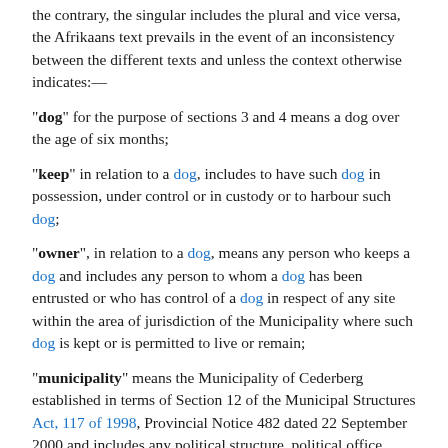the contrary, the singular includes the plural and vice versa, the Afrikaans text prevails in the event of an inconsistency between the different texts and unless the context otherwise indicates:—
"dog" for the purpose of sections 3 and 4 means a dog over the age of six months;
"keep" in relation to a dog, includes to have such dog in possession, under control or in custody or to harbour such dog;
"owner", in relation to a dog, means any person who keeps a dog and includes any person to whom a dog has been entrusted or who has control of a dog in respect of any site within the area of jurisdiction of the Municipality where such dog is kept or is permitted to live or remain;
"municipality" means the Municipality of Cederberg established in terms of Section 12 of the Municipal Structures Act, 117 of 1998, Provincial Notice 482 dated 22 September 2000 and includes any political structure, political office bearer, councillor, duly authorised agent thereof or any employee thereof acting in connection with this by-law by virtue of a power vested in the municipality